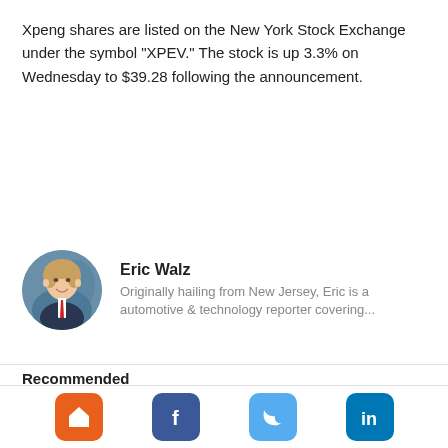Xpeng shares are listed on the New York Stock Exchange under the symbol "XPEV." The stock is up 3.3% on Wednesday to $39.28 following the announcement.
[Figure (photo): Circular headshot of Eric Walz, a man in a suit with a red tie, smiling, with a blurred background.]
Eric Walz
Originally hailing from New Jersey, Eric is a automotive & technology reporter covering...
Recommended
Baidu CEO Believes That SAE Level-4 Autonomous Driving Systems Will the First to Enter Commercial Use After L2, Skipping Over L3
Volvo's Electric Vehicle Brand Polestar Reports $1 Billion in Revenue in the First Half of 2022, Adds 6 New Global Markets
Toyota is Investing an Additional $2.5 Billion to Expand its North
[Figure (other): Bottom navigation bar with four icon buttons: home (orange), Facebook (dark blue), Twitter (light blue), LinkedIn (teal blue).]